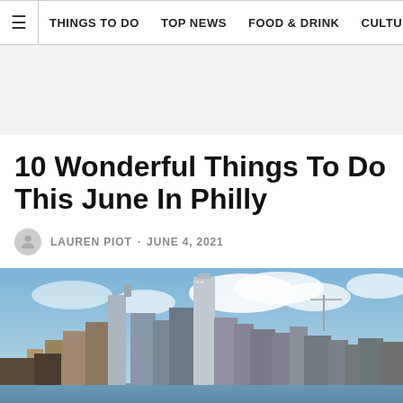≡  THINGS TO DO  TOP NEWS  FOOD & DRINK  CULTURE
[Figure (other): Gray advertisement banner]
10 Wonderful Things To Do This June In Philly
LAUREN PIOT · JUNE 4, 2021
[Figure (photo): Philadelphia city skyline with tall skyscrapers under a partly cloudy blue sky]